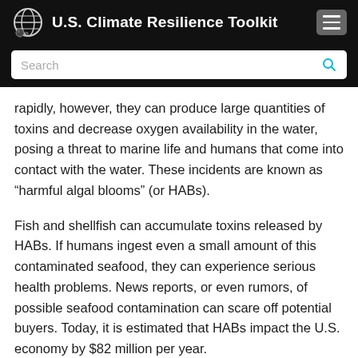U.S. Climate Resilience Toolkit
rapidly, however, they can produce large quantities of toxins and decrease oxygen availability in the water, posing a threat to marine life and humans that come into contact with the water. These incidents are known as “harmful algal blooms” (or HABs).
Fish and shellfish can accumulate toxins released by HABs. If humans ingest even a small amount of this contaminated seafood, they can experience serious health problems. News reports, or even rumors, of possible seafood contamination can scare off potential buyers. Today, it is estimated that HABs impact the U.S. economy by $82 million per year.